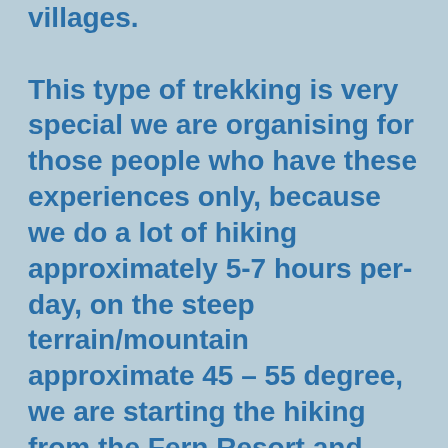villages. This type of trekking is very special we are organising for those people who have these experiences only, because we do a lot of hiking approximately 5-7 hours per- day, on the steep terrain/mountain approximate 45 – 55 degree, we are starting the hiking from the Fern Resort and End at Baan Pha-Bong, from Baan Pha- Bong we will ride to Fern Resort by car it take 30 minutes to drive.